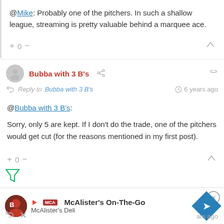@Mike: Probably one of the pitchers. In such a shallow league, streaming is pretty valuable behind a marquee ace.
+ 0 —
Bubba with 3 B's
Reply to Bubba with 3 B's  6 years ago
@Bubba with 3 B's:
Sorry, only 5 are kept. If I don't do the trade, one of the pitchers would get cut (for the reasons mentioned in my first post).
+ 0 —
McAlister's On-The-Go
McAlister's Deli
ars ago